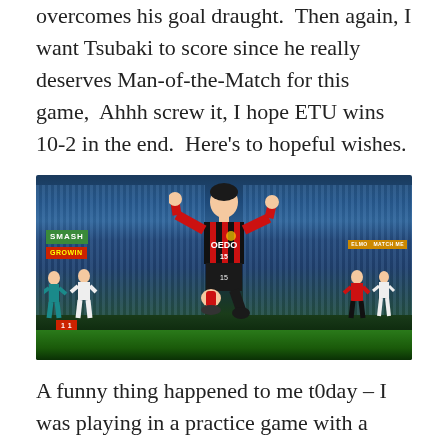overcomes his goal draught.  Then again, I want Tsubaki to score since he really deserves Man-of-the-Match for this game,  Ahhh screw it, I hope ETU wins 10-2 in the end.  Here's to hopeful wishes.
[Figure (illustration): Anime screenshot of a soccer player in a red and black striped OEDO jersey with number 15, kneeling on the pitch in a triumphant celebration pose with fists raised, inside a stadium full of spectators.]
A funny thing happened to me t0day – I was playing in a practice game with a team that my team would play